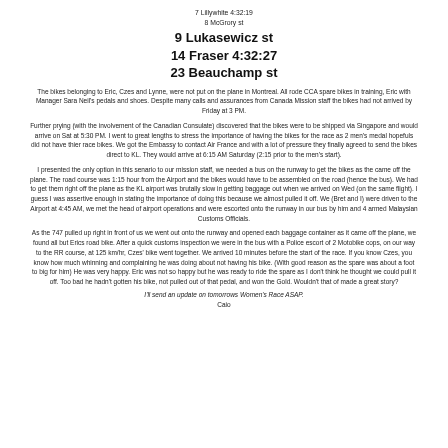7 Lillywhite 4:32:19
8 McGrory st
9 Lukasewicz st
14 Fraser 4:32:27
23 Beauchamp st
The bikes belonging to Eric, Czes and Lynne, were not put on the plane in Montreal. All rode CCA spare bikes in training, Eric with Manager Sara Neil's pedals and shoes. Despite many calls and assurances from Canada Mission staff the bikes had not arrived by Friday at 3 PM.
Further prying (with the involvement of the Canadian Consulate) discovered that the bikes were to be shipped via Singapore and would arrive on Sat at 5:30 PM. I went to great lengths to stress the importance of having the bikes for the race as 2 men's medal hopefuls did not have thier race bikes. We got the Embassy to contact Air France and with a lot of pressure they finally agreed to send the bikes direct to KL. They would arrive at 6:15 AM Saturday (2:15 prior to the men's start).
I presented the only option in this senario to our mission staff, we needed a bus on the runway to get the bikes as the came off the plane. The road course was 1:15 hour from the Airport and the bikes would have to be assembled on the road (hence the bus). We had to get them right off the plane as the KL airport was brutally slow in getting baggage out when we arrived on Wed (on the same flight). I guess I was assertive enough in stating the importance of doing this because we almost pulled it off. We (Bret and I) were driven to the Airport at 4:45 AM, we met the head of airport operations and were escorted onto the runway in our bus by him and 4 armed Malaysian Customs Officials.
As the 747 pulled up right in front of us we went out onto the runway and opened each baggage container as it came off the plane, we found all but Erics road bike. After a quick customs inspection we were in the bus with a Police escort of 2 Motobike cops, on our way to the RR course, at 125 km/hr, Czes' bike went together. We arrived 10 minutes before the start of the race. If you know Czes, you know how much whinning and complaining he was doing about not having his bike. (With good reason as the spare was about a foot to big for him) He was very happy. Eric was not so happy but he was ready to ride the spare as I don't think he thought we could pull it off. Too bad he hadn't gotten his bike, not pulled out of that pedal, and won the Gold. Wouldn't that of made a great story?
I'll send an update on tomorrows Women's Race ASAP.
Caio